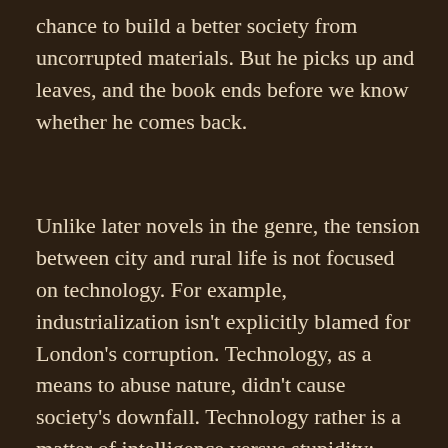chance to build a better society from uncorrupted materials. But he picks up and leaves, and the book ends before we know whether he comes back.
Unlike later novels in the genre, the tension between city and rural life is not focused on technology. For example, industrialization isn't explicitly blamed for London's corruption. Technology, as a means to abuse nature, didn't cause society's downfall. Technology rather is a matter of intelligence versus stupidity: Felix, implausibly, gains some traction in his world by going around and pointing out obvious ideas that the closed-minded people in this society never thought of. It's a very naive take on